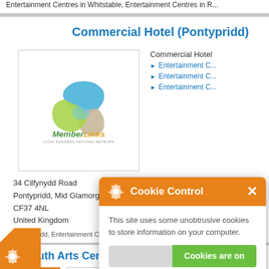Entertainment Centres in Whitstable, Entertainment Centres in R...
Commercial Hotel (Pontypridd)
[Figure (logo): MemberLinks local business national network logo — abstract ribbon/knot shape in blue, green and grey with text MemberLinks below]
34 Cilfynydd Road
Pontypridd, Mid Glamorgan
CF37 4NL
United Kingdom
Commercial Hotel
Entertainment C...
Entertainment C...
Entertainment C...
...ontyp ridd, Entertainment Centres in Mi...
Falmouth Arts Centre (Falmouth)
[Figure (screenshot): Cookie Control popup overlay: orange header with gear icon and 'Cookie Control' title and X close button; white body with text 'This site uses some unobtrusive cookies to store information on your computer.'; toggle bar with grey left and green 'Cookies are on' button; orange 'about this tool' link]
read more
[Figure (logo): Second MemberLinks logo partially visible at bottom right]